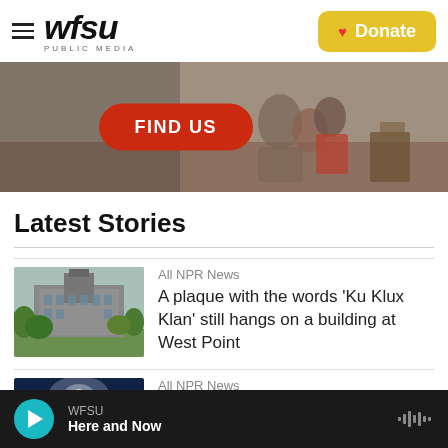WFSU PUBLIC MEDIA — Donate
[Figure (photo): Banner image with people sitting, overlaid with a red 'FIND US' button]
Latest Stories
[Figure (photo): Photo of West Point military academy building with trees]
All NPR News
A plaque with the words 'Ku Klux Klan' still hangs on a building at West Point
[Figure (photo): Partial thumbnail of second story image (dark/blue tones)]
All NPR News
WFSU — Here and Now (audio player bar)